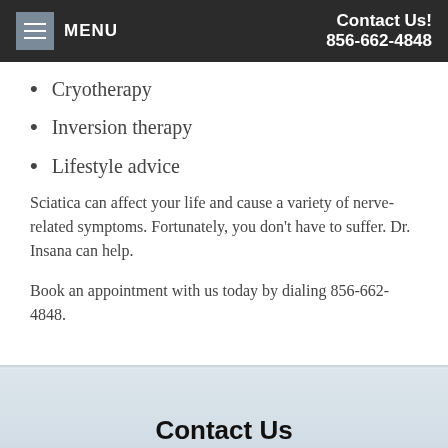MENU | Contact Us! 856-662-4848
Cryotherapy
Inversion therapy
Lifestyle advice
Sciatica can affect your life and cause a variety of nerve-related symptoms. Fortunately, you don't have to suffer. Dr. Insana can help.
Book an appointment with us today by dialing 856-662-4848.
Contact Us
Send Us An Email Today!